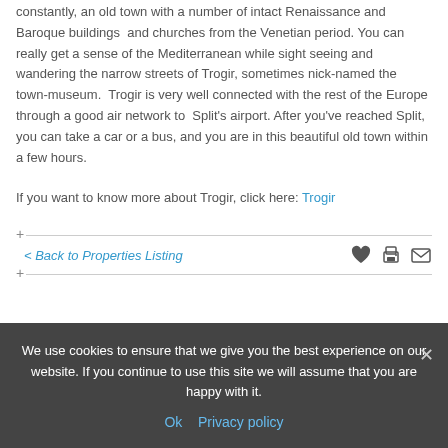constantly, an old town with a number of intact Renaissance and Baroque buildings and churches from the Venetian period. You can really get a sense of the Mediterranean while sight seeing and wandering the narrow streets of Trogir, sometimes nick-named the town-museum. Trogir is very well connected with the rest of the Europe through a good air network to Split's airport. After you've reached Split, you can take a car or a bus, and you are in this beautiful old town within a few hours.
If you want to know more about Trogir, click here: Trogir
< Back to Properties Listing
We use cookies to ensure that we give you the best experience on our website. If you continue to use this site we will assume that you are happy with it.
Ok  Privacy policy
Your name